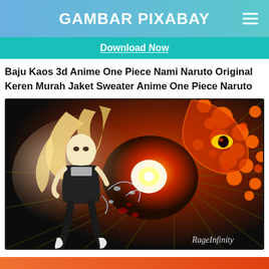GAMBAR PIXABAY
Download Now
Baju Kaos 3d Anime One Piece Nami Naruto Original Keren Murah Jaket Sweater Anime One Piece Naruto
[Figure (illustration): Anime digital art illustration showing a blonde female anime character in black outfit against a fiery orange background featuring a large serpentine creature. Watermark 'RageInfinity' in bottom right corner.]